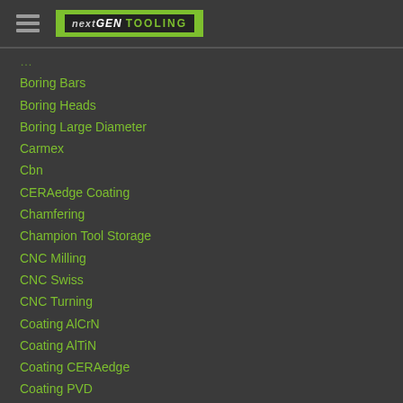[Figure (logo): Hamburger menu icon and NEXTGEN TOOLING logo on dark background]
Boring Bars
Boring Heads
Boring Large Diameter
Carmex
Cbn
CERAedge Coating
Chamfering
Champion Tool Storage
CNC Milling
CNC Swiss
CNC Turning
Coating AlCrN
Coating AlTiN
Coating CERAedge
Coating PVD
Coating TiAlN
Coating TiN